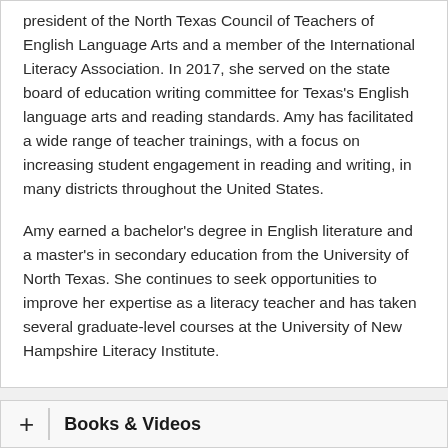president of the North Texas Council of Teachers of English Language Arts and a member of the International Literacy Association. In 2017, she served on the state board of education writing committee for Texas's English language arts and reading standards. Amy has facilitated a wide range of teacher trainings, with a focus on increasing student engagement in reading and writing, in many districts throughout the United States.
Amy earned a bachelor's degree in English literature and a master's in secondary education from the University of North Texas. She continues to seek opportunities to improve her expertise as a literacy teacher and has taken several graduate-level courses at the University of New Hampshire Literacy Institute.
Books & Videos